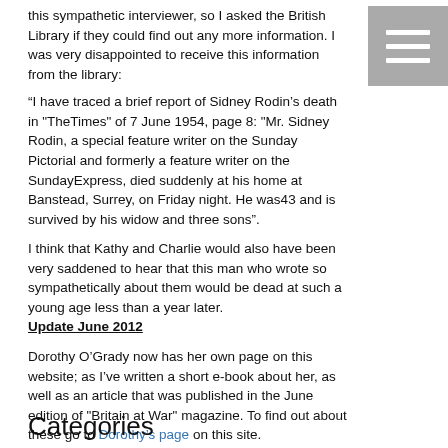this sympathetic interviewer, so I asked the British Library if they could find out any more information. I was very disappointed to receive this information from the library:
“I have traced a brief report of Sidney Rodin’s death in "TheTimes" of 7 June 1954, page 8: "Mr. Sidney Rodin, a special feature writer on the Sunday Pictorial and formerly a feature writer on the SundayExpress, died suddenly at his home at Banstead, Surrey, on Friday night. He was43 and is survived by his widow and three sons".
I think that Kathy and Charlie would also have been very saddened to hear that this man who wrote so sympathetically about them would be dead at such a young age less than a year later.
Update June 2012
Dorothy O’Grady now has her own page on this website; as I’ve written a short e-book about her, as well as an article that was published in the June edition of "Britain at War" magazine. To find out about these go to Dorothy's page on this site.
Alternatively you can go direct to the Amazon UK Kindle site to purchase the e-book for £1.99
Categories